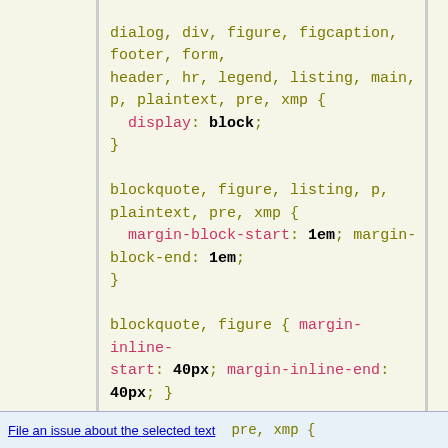dialog, div, figure, figcaption,
footer, form,
header, hr, legend, listing, main,
p, plaintext, pre, xmp {
    display: block;
}

blockquote, figure, listing, p,
plaintext, pre, xmp {
    margin-block-start: 1em; margin-block-end: 1em;
}

blockquote, figure { margin-inline-start: 40px; margin-inline-end: 40px; }

address { font-style: italic; }
pre, xmp {
File an issue about the selected text    pre, xmp {